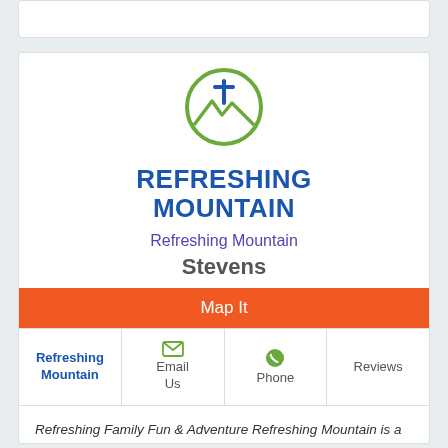[Figure (logo): Refreshing Mountain logo: green circle with blue cross and mountain silhouette]
REFRESHING MOUNTAIN
Refreshing Mountain
Stevens
Map It
| Refreshing Mountain | Email Us | Phone | Reviews |
| --- | --- | --- | --- |
Refreshing Family Fun & Adventure Refreshing Mountain is a year-round retreat and adventure center providing family friendly fun and refreshment for over 30 years in Lancaster County, PA.  We provide facilities and services for large group retreats and private cabin rentals for overnight getaways. We also provide a variety of outdoor adventures, day field trips